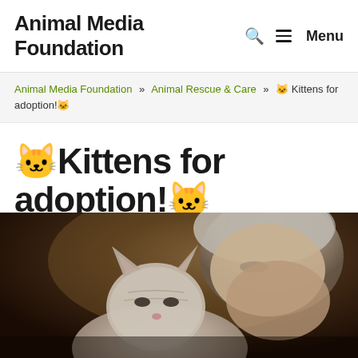Animal Media Foundation  🔍  ☰ Menu
Animal Media Foundation » Animal Rescue & Care » 🐱 Kittens for adoption!🐱
🐱Kittens for adoption!🐱
May 21, 2022 by Adeline
[Figure (photo): A person with gray hair nuzzling a kitten, photographed close up on a dark brown background]